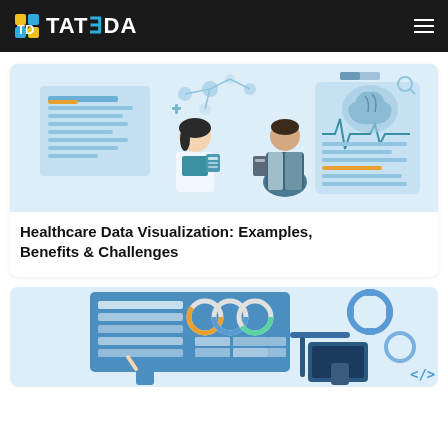TATEEDA
[Figure (illustration): Healthcare data visualization illustration showing two doctors/medical professionals with clipboards in front of digital health data displays, brain scan, and medical charts on a light blue background]
Healthcare Data Visualization: Examples, Benefits & Challenges
[Figure (illustration): Illustration showing a database/dashboard interface with circular progress indicators, gear icons, and people interacting with digital data displays on a light blue background]